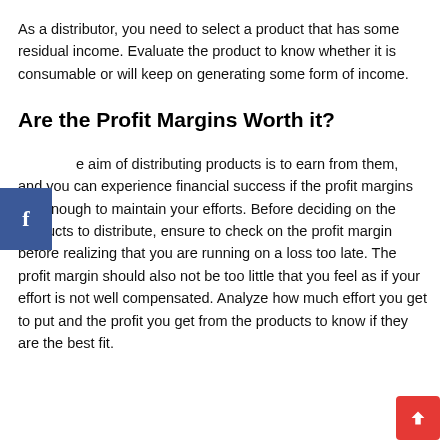As a distributor, you need to select a product that has some residual income. Evaluate the product to know whether it is consumable or will keep on generating some form of income.
Are the Profit Margins Worth it?
The aim of distributing products is to earn from them, and you can experience financial success if the profit margins are enough to maintain your efforts. Before deciding on the products to distribute, ensure to check on the profit margin before realizing that you are running on a loss too late. The profit margin should also not be too little that you feel as if your effort is not well compensated. Analyze how much effort you get to put and the profit you get from the products to know if they are the best fit.